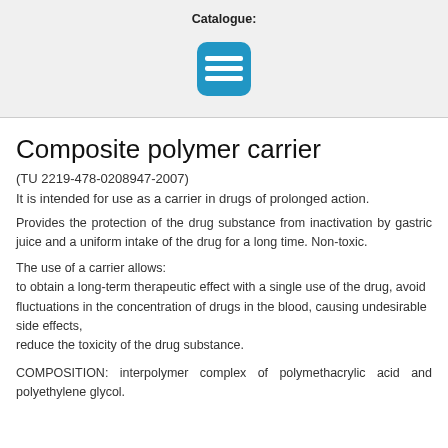Catalogue:
[Figure (other): Blue rounded square icon with horizontal lines representing a document/catalogue list icon]
Composite polymer carrier
(TU 2219-478-0208947-2007)
It is intended for use as a carrier in drugs of prolonged action.
Provides the protection of the drug substance from inactivation by gastric juice and a uniform intake of the drug for a long time. Non-toxic.
The use of a carrier allows:
to obtain a long-term therapeutic effect with a single use of the drug, avoid fluctuations in the concentration of drugs in the blood, causing undesirable side effects,
reduce the toxicity of the drug substance.
COMPOSITION: interpolymer complex of polymethacrylic acid and polyethylene glycol.